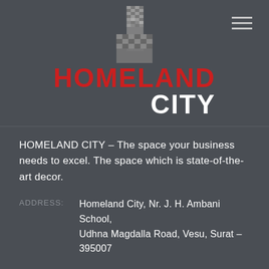[Figure (logo): Homeland City logo with building illustration in gray/silver, red bold text HOMELAND and white bold text CITY, with hamburger menu icon top right]
HOMELAND CITY – The space your business needs to excel. The space which is state-of-the-art decor.
ADDRESS: Homeland City, Nr. J. H. Ambani School, Udhna Magdalla Road, Vesu, Surat – 395007